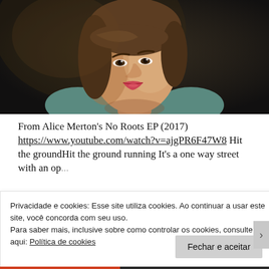[Figure (photo): Portrait photo of a young woman with short brown hair, wearing a teal/blue-green top, photographed against a dark background. She is looking slightly upward and to the side, with lips slightly parted.]
From Alice Merton's No Roots EP (2017) https://www.youtube.com/watch?v=ajgPR6F47W8 Hit the groundHit the ground running It's a one way street with an open...
Privacidade e cookies: Esse site utiliza cookies. Ao continuar a usar este site, você concorda com seu uso.
Para saber mais, inclusive sobre como controlar os cookies, consulte aqui: Política de cookies